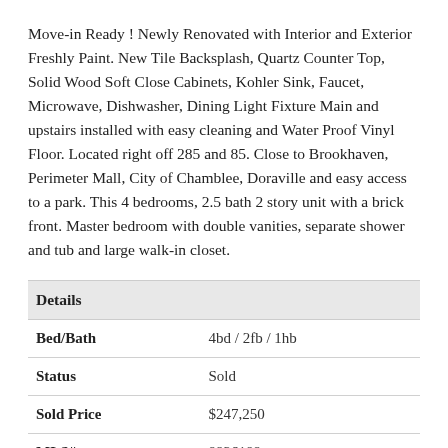Move-in Ready ! Newly Renovated with Interior and Exterior Freshly Paint. New Tile Backsplash, Quartz Counter Top, Solid Wood Soft Close Cabinets, Kohler Sink, Faucet, Microwave, Dishwasher, Dining Light Fixture Main and upstairs installed with easy cleaning and Water Proof Vinyl Floor. Located right off 285 and 85. Close to Brookhaven, Perimeter Mall, City of Chamblee, Doraville and easy access to a park. This 4 bedrooms, 2.5 bath 2 story unit with a brick front. Master bedroom with double vanities, separate shower and tub and large walk-in closet.
| Details |  |
| --- | --- |
| Bed/Bath | 4bd / 2fb / 1hb |
| Status | Sold |
| Sold Price | $247,250 |
| MLS# | 8926189 |